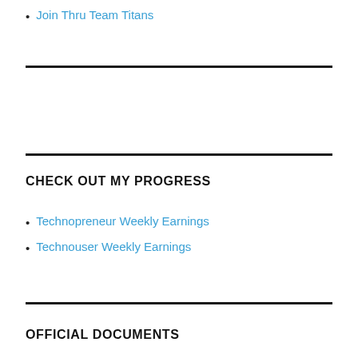Join Thru Team Titans
CHECK OUT MY PROGRESS
Technopreneur Weekly Earnings
Technouser Weekly Earnings
OFFICIAL DOCUMENTS